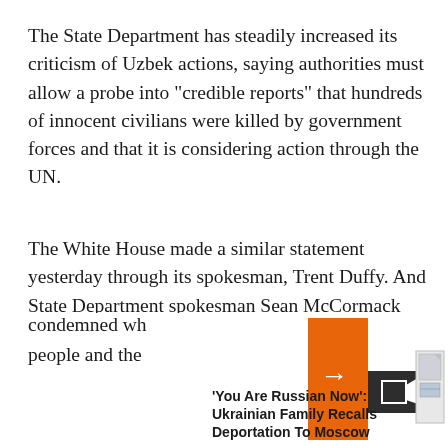The State Department has steadily increased its criticism of Uzbek actions, saying authorities must allow a probe into "credible reports" that hundreds of innocent civilians were killed by government forces and that it is considering action through the UN.
The White House made a similar statement yesterday through its spokesman, Trent Duffy. And State Department spokesman Sean McCormack told reporters that the Pentagon has also delivered this same message to Tashkent.
"We are speaking with one voice with respect to this issue. Our view... condemned wh... people and the...
[Figure (screenshot): UI overlay showing an orange arrow button, a video camera icon button, an image placeholder icon, and related article text reading 'You Are Russian Now': Ukrainian Family Recalls Deportation To Moscow]